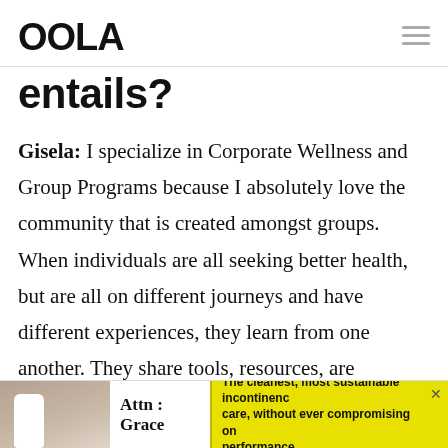OOLA
entails?
Gisela: I specialize in Corporate Wellness and Group Programs because I absolutely love the community that is created amongst groups. When individuals are all seeking better health, but are all on different journeys and have different experiences, they learn from one another. They share tools, resources, are relatable to one another, and hold themselves
[Figure (infographic): Advertisement banner: Attn: Grace product with text 'The cleanest, most sustainable incontinence care, without ever compromising on performance.' on yellow background.]